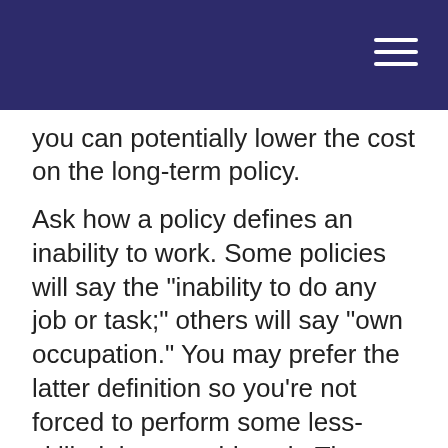you can potentially lower the cost on the long-term policy.
Ask how a policy defines an inability to work. Some policies will say the "inability to do any job or task;" others will say "own occupation." You may prefer the latter definition so you're not forced to perform some less-skilled, lower-paid work. That type of work may not help you meet your bills.
1. Social Security Administration, 2022
2. Disability-Benefits-Help.org, 2021
3. Investopedia.com, 2022
4. Investopedia.com, 2021
The content is developed from sources believed to be providing accurate information. The information in this material is not intended as tax or legal advice. It may not be used for the purpose of avoiding any federal tax penalties. Please consult legal or tax professionals for specific information regarding your individual situation. This material was developed and produced by FMG Suite to provide information on a topic that may be of interest. FMG Suite is not affiliated with the named broker-dealer, state- or SEC-registered investment advisory firm. The opinions expressed and material